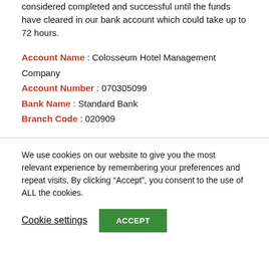payment for transfer. Your order will not be considered completed and successful until the funds have cleared in our bank account which could take up to 72 hours.
Account Name : Colosseum Hotel Management Company
Account Number : 070305099
Bank Name : Standard Bank
Branch Code : 020909
We use cookies on our website to give you the most relevant experience by remembering your preferences and repeat visits. By clicking “Accept”, you consent to the use of ALL the cookies.
Cookie settings
ACCEPT